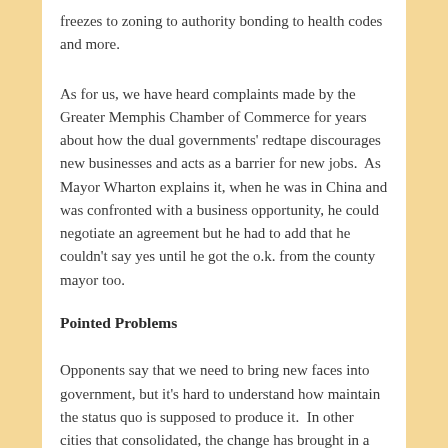freezes to zoning to authority bonding to health codes and more.
As for us, we have heard complaints made by the Greater Memphis Chamber of Commerce for years about how the dual governments' redtape discourages new businesses and acts as a barrier for new jobs.  As Mayor Wharton explains it, when he was in China and was confronted with a business opportunity, he could negotiate an agreement but he had to add that he couldn't say yes until he got the o.k. from the county mayor too.
Pointed Problems
Opponents say that we need to bring new faces into government, but it's hard to understand how maintain the status quo is supposed to produce it.  In other cities that consolidated, the change has brought in a new